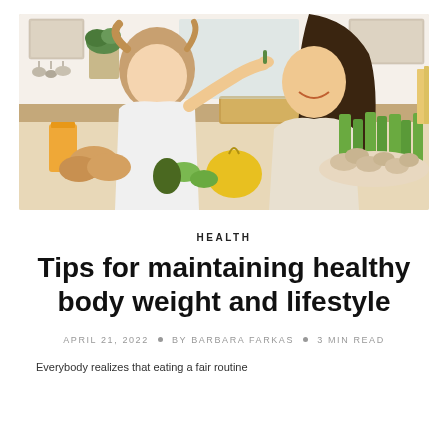[Figure (photo): A young girl feeding a vegetable to a smiling woman (mother) in a kitchen setting, with fresh vegetables, mushrooms, celery, orange juice, and bread visible on the counter.]
HEALTH
Tips for maintaining healthy body weight and lifestyle
APRIL 21, 2022 • BY BARBARA FARKAS • 3 MIN READ
Everybody realizes that eating a fair routine